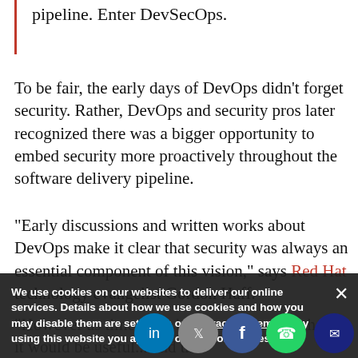pipeline. Enter DevSecOps.
To be fair, the early days of DevOps didn't forget security. Rather, DevOps and security pros later recognized there was a bigger opportunity to embed security more proactively throughout the software delivery pipeline.
“Early discussions and written works about DevOps make it clear that security was always an essential component of this vision,” says Red Hat technology evangelist Gordon Haff. “However as time went by it became clear that ... and that it would be useful... Hence DevSecOp
We use cookies on our websites to deliver our online services. Details about how we use cookies and how you may disable them are set out in our Privacy Statement. By using this website you agree to our use of cookies.